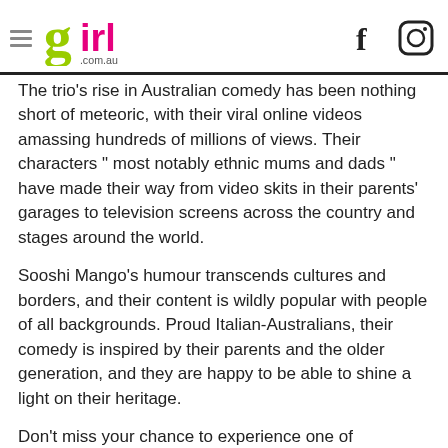girl.com.au
The trio's rise in Australian comedy has been nothing short of meteoric, with their viral online videos amassing hundreds of millions of views. Their characters " most notably ethnic mums and dads " have made their way from video skits in their parents' garages to television screens across the country and stages around the world.
Sooshi Mango's humour transcends cultures and borders, and their content is wildly popular with people of all backgrounds. Proud Italian-Australians, their comedy is inspired by their parents and the older generation, and they are happy to be able to shine a light on their heritage.
Don't miss your chance to experience one of Australia's funniest and most-loved comedy acts live on stage.